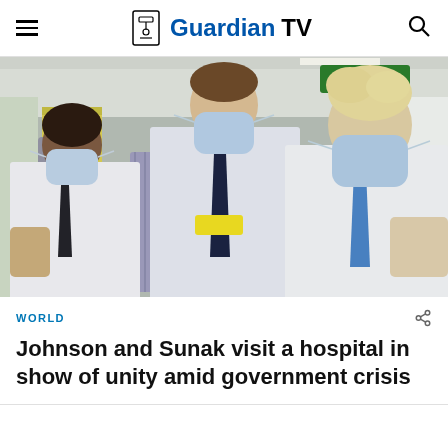GuardianTV
[Figure (photo): Three men in white shirts and face masks standing in a hospital corridor. The man on the left has dark hair and a dark tie, the man in the middle is tall with a yellow name badge and dark tie, and the man on the right has blond hair and a blue tie. Other masked figures are visible in the background.]
WORLD
Johnson and Sunak visit a hospital in show of unity amid government crisis